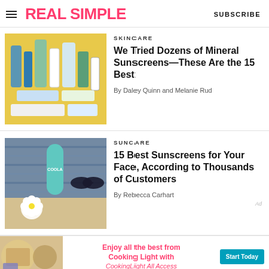REAL SIMPLE  SUBSCRIBE
[Figure (photo): Flat lay of various sunscreen and skincare product bottles on a yellow background]
SKINCARE
We Tried Dozens of Mineral Sunscreens—These Are the 15 Best
By Daley Quinn and Melanie Rud
[Figure (photo): Sunscreen bottle (COOLA brand) and sunglasses on a blue woven fabric with a white flower on sand]
SUNCARE
15 Best Sunscreens for Your Face, According to Thousands of Customers
By Rebecca Carhart
[Figure (photo): Ad banner for Cooking Light All Access — Enjoy all the best from Cooking Light with CookingLight All Access — Start Today button]